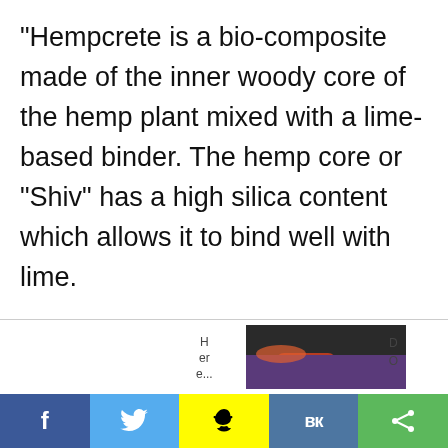“Hempcrete is a bio-composite made of the inner woody core of the hemp plant mixed with a lime-based binder. The hemp core or “Shiv” has a high silica content which allows it to bind well with lime.
This property is unique to hemp
[Figure (screenshot): Bottom UI overlay showing a carousel navigation strip with left/right arrows, a 'H er e...' label, a thumbnail image of a person, a 'D O' label, and an X close button. Below is a social sharing bar with Facebook (blue), Twitter (blue), Snapchat (yellow), VK (blue), and a share (green) button.]